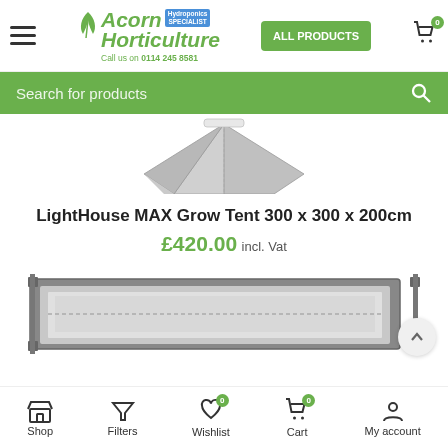Acorn Horticulture – Call us on 0114 245 8581 – ALL PRODUCTS – Cart 0
Search for products
[Figure (photo): Top portion of a grey grow tent against white background]
LightHouse MAX Grow Tent 300 x 300 x 200cm
£420.00 incl. Vat
[Figure (photo): Bottom portion of a grey LightHouse MAX grow tent showing top frame and silver interior lining]
Shop | Filters | Wishlist 0 | Cart 0 | My account